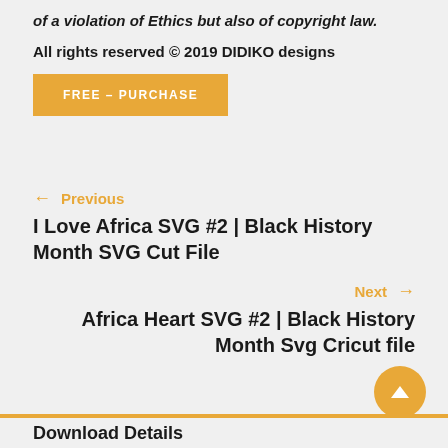of a violation of Ethics but also of copyright law.
All rights reserved © 2019 DIDIKO designs
FREE – PURCHASE
← Previous
I Love Africa SVG #2 | Black History Month SVG Cut File
Next →
Africa Heart SVG #2 | Black History Month Svg Cricut file
Download Details